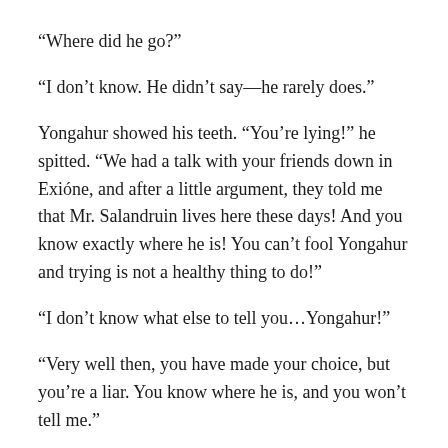“Where did he go?”
“I don’t know. He didn’t say—he rarely does.”
Yongahur showed his teeth. “You’re lying!” he spitted. “We had a talk with your friends down in Exióne, and after a little argument, they told me that Mr. Salandruin lives here these days! And you know exactly where he is! You can’t fool Yongahur and trying is not a healthy thing to do!”
“I don’t know what else to tell you…Yongahur!”
“Very well then, you have made your choice, but you’re a liar. You know where he is, and you won’t tell me.”